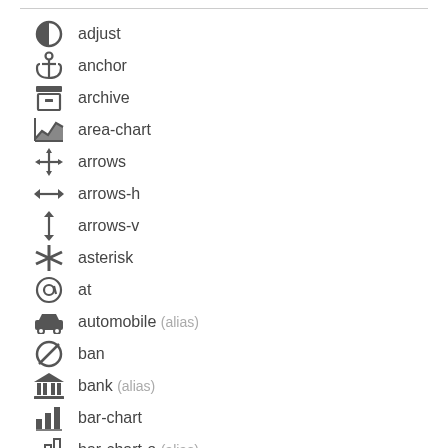adjust
anchor
archive
area-chart
arrows
arrows-h
arrows-v
asterisk
at
automobile (alias)
ban
bank (alias)
bar-chart
bar-chart-o (alias)